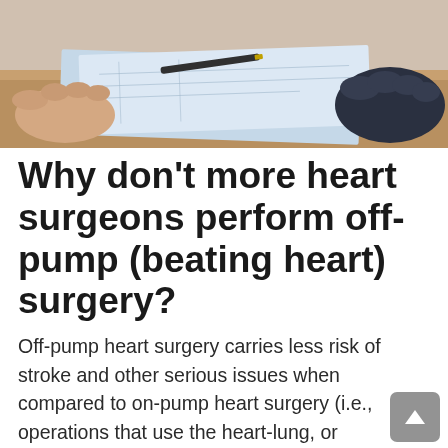[Figure (photo): A photograph showing hands resting on a table with blueprints or documents, viewed from above. One set of hands is wearing a dark sleeve (right side) and another set is bare (left side). A pen is visible on the papers.]
Why don't more heart surgeons perform off-pump (beating heart) surgery?
Off-pump heart surgery carries less risk of stroke and other serious issues when compared to on-pump heart surgery (i.e., operations that use the heart-lung, or cardiopulmonary bypass, machine).